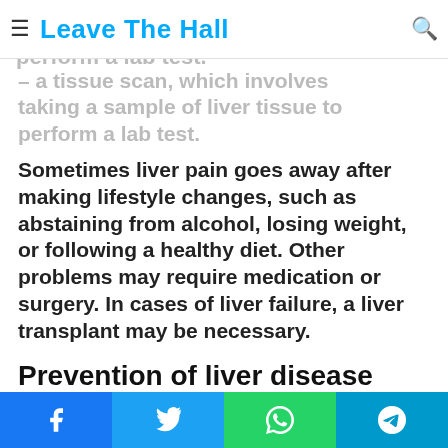Leave The Hall
– a tissue scan, which involves taking a sample of liver tissue to perform a lab test.
Sometimes liver pain goes away after making lifestyle changes, such as abstaining from alcohol, losing weight, or following a healthy diet. Other problems may require medication or surgery. In cases of liver failure, a liver transplant may be necessary.
Prevention of liver disease
To prevent liver disease, it is is
Facebook | Twitter | WhatsApp | Telegram